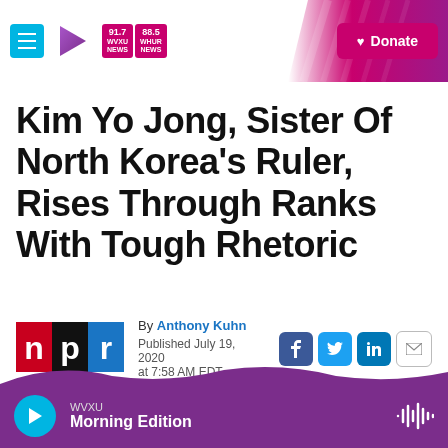WVXU 91.7 NEWS | WHUR 88.5 NEWS | Donate
Kim Yo Jong, Sister Of North Korea's Ruler, Rises Through Ranks With Tough Rhetoric
By Anthony Kuhn
Published July 19, 2020 at 7:58 AM EDT
[Figure (logo): NPR logo: red n, black p, blue r on horizontal strip]
WVXU Morning Edition